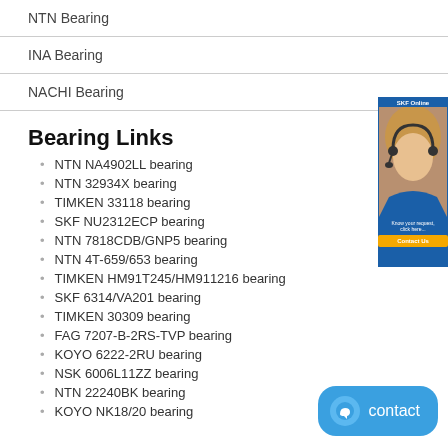NTN Bearing
INA Bearing
NACHI Bearing
Bearing Links
NTN NA4902LL bearing
NTN 32934X bearing
TIMKEN 33118 bearing
SKF NU2312ECP bearing
NTN 7818CDB/GNP5 bearing
NTN 4T-659/653 bearing
TIMKEN HM91T245/HM911216 bearing
SKF 6314/VA201 bearing
TIMKEN 30309 bearing
FAG 7207-B-2RS-TVP bearing
KOYO 6222-2RU bearing
NSK 6006L11ZZ bearing
NTN 22240BK bearing
KOYO NK18/20 bearing
[Figure (illustration): Customer service representative sidebar banner with blue background]
[Figure (illustration): Blue contact button with chat icon]